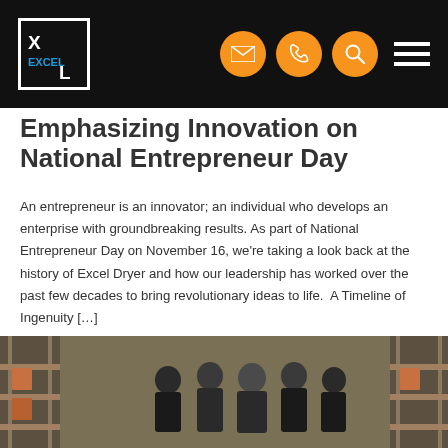Excel Dryer logo and navigation bar with email, phone, search icons and hamburger menu
Emphasizing Innovation on National Entrepreneur Day
An entrepreneur is an innovator; an individual who develops an enterprise with groundbreaking results. As part of National Entrepreneur Day on November 16, we're taking a look back at the history of Excel Dryer and how our leadership has worked over the past few decades to bring revolutionary ideas to life.  A Timeline of Ingenuity […]
➤ Read More
[Figure (photo): Group photo of five men in dark clothing standing in an industrial warehouse with shelving racks in the background]